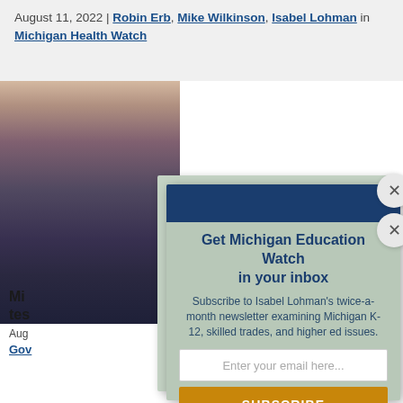August 11, 2022 | Robin Erb, Mike Wilkinson, Isabel Lohman in Michigan Health Watch
[Figure (photo): Background photo of a student or person, blurred/partial, with a newsletter subscription modal overlaid on top.]
Get Michigan Education Watch in your inbox
Subscribe to Isabel Lohman's twice-a-month newsletter examining Michigan K-12, skilled trades, and higher ed issues.
Enter your email here...
SUBSCRIBE
We do not sell or share your information with anyone.
Mi... tes...
Aug...
Gov...